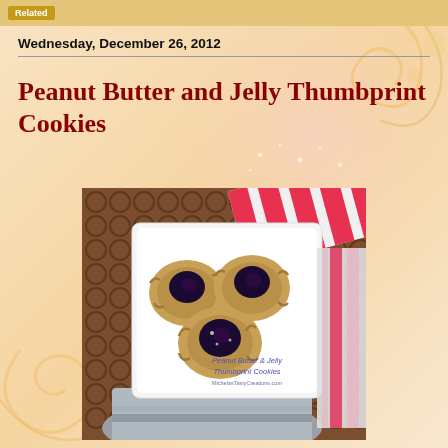Wednesday, December 26, 2012
Peanut Butter and Jelly Thumbprint Cookies
[Figure (photo): A plate of peanut butter and jelly thumbprint cookies on a white square plate, placed on a gray folded cloth napkin and a woven wooden mat, with a striped red and white cloth in the background. Text overlay reads 'Peanut Butter & Jelly Thumbprint Cookies' and a website URL.]